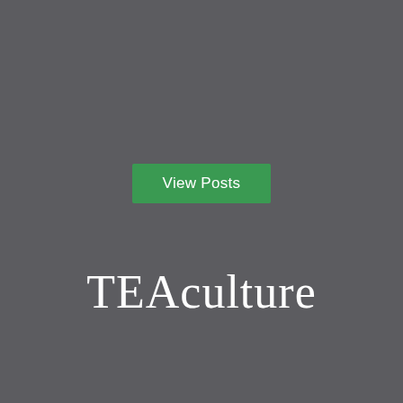[Figure (other): Green button labeled 'View Posts' centered on a dark gray background]
TEAculture